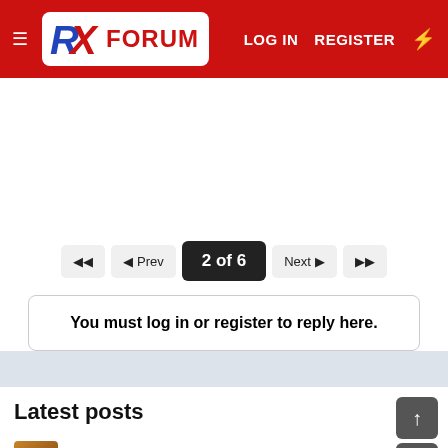RX FORUM — LOG IN  REGISTER
[Figure (screenshot): White rectangular ad space area]
◀◀  ◀ Prev  2 of 6  Next ▶  ▶▶
You must log in or register to reply here.
Latest posts
Slide out stuck in out position
Need help with non GFCI receptacles not working